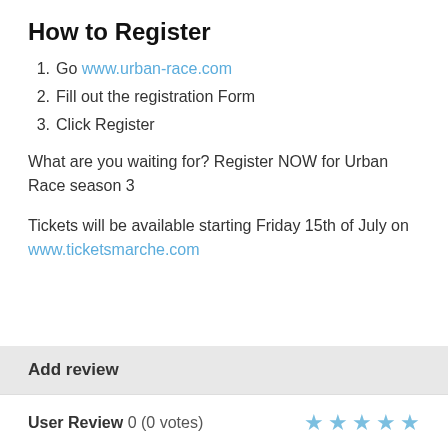How to Register
1. Go www.urban-race.com
2. Fill out the registration Form
3. Click Register
What are you waiting for? Register NOW for Urban Race season 3
Tickets will be available starting Friday 15th of July on www.ticketsmarche.com
Add review
User Review 0 (0 votes)